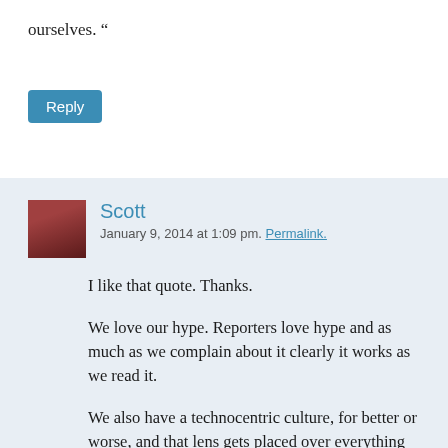ourselves. “
Reply
Scott
January 9, 2014 at 1:09 pm. Permalink.
I like that quote. Thanks.
We love our hype. Reporters love hype and as much as we complain about it clearly it works as we read it.
We also have a technocentric culture, for better or worse, and that lens gets placed over everything often making it the central narrative of the story (as your example